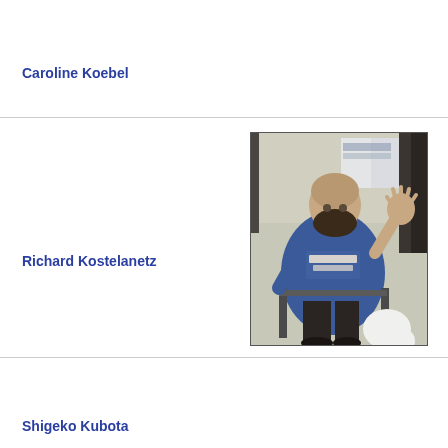Caroline Koebel
Richard Kostelanetz
[Figure (photo): Man with beard wearing a blue sweatshirt, seated in a chair, waving at the camera in what appears to be an office or studio environment.]
Shigeko Kubota